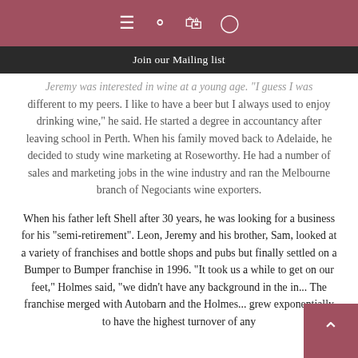Join our Mailing list
Jeremy was interested in wine at a young age. "I guess I was different to my peers. I like to have a beer but I always used to enjoy drinking wine," he said. He started a degree in accountancy after leaving school in Perth. When his family moved back to Adelaide, he decided to study wine marketing at Roseworthy. He had a number of sales and marketing jobs in the wine industry and ran the Melbourne branch of Negociants wine exporters.
When his father left Shell after 30 years, he was looking for a business for his "semi-retirement". Leon, Jeremy and his brother, Sam, looked at a variety of franchises and bottle shops and pubs but finally settled on a Bumper to Bumper franchise in 1996. "It took us a while to get on our feet," Holmes said, "we didn't have any background in the in... The franchise merged with Autobarn and the Holmes... grew exponentially to have the highest turnover of any